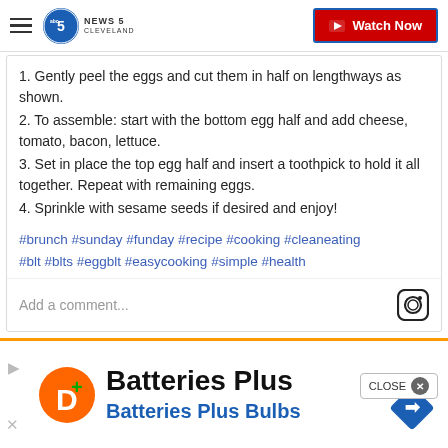NEWS 5 CLEVELAND — Watch Now
1. Gently peel the eggs and cut them in half on lengthways as shown.
2. To assemble: start with the bottom egg half and add cheese, tomato, bacon, lettuce.
3. Set in place the top egg half and insert a toothpick to hold it all together. Repeat with remaining eggs.
4. Sprinkle with sesame seeds if desired and enjoy!
#brunch #sunday #funday #recipe #cooking #cleaneating #blt #blts #eggblt #easycooking #simple #health
Add a comment...
Author Jenny Block talked on Facebook about making Delish's BLT Egglets recipe to help keep from bei...
[Figure (screenshot): Batteries Plus advertisement banner with orange circular logo and blue navigation arrow sign]